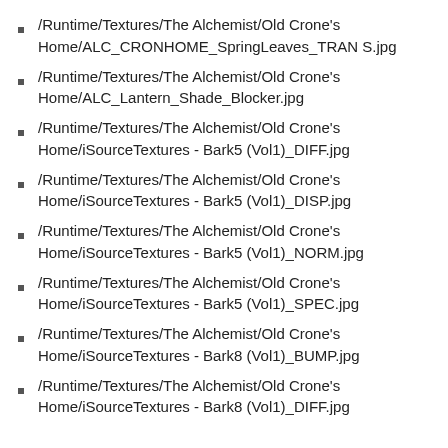/Runtime/Textures/The Alchemist/Old Crone's Home/ALC_CRONHOME_SpringLeaves_TRANS.jpg
/Runtime/Textures/The Alchemist/Old Crone's Home/ALC_Lantern_Shade_Blocker.jpg
/Runtime/Textures/The Alchemist/Old Crone's Home/iSourceTextures - Bark5 (Vol1)_DIFF.jpg
/Runtime/Textures/The Alchemist/Old Crone's Home/iSourceTextures - Bark5 (Vol1)_DISP.jpg
/Runtime/Textures/The Alchemist/Old Crone's Home/iSourceTextures - Bark5 (Vol1)_NORM.jpg
/Runtime/Textures/The Alchemist/Old Crone's Home/iSourceTextures - Bark5 (Vol1)_SPEC.jpg
/Runtime/Textures/The Alchemist/Old Crone's Home/iSourceTextures - Bark8 (Vol1)_BUMP.jpg
/Runtime/Textures/The Alchemist/Old Crone's Home/iSourceTextures - Bark8 (Vol1)_DIFF.jpg